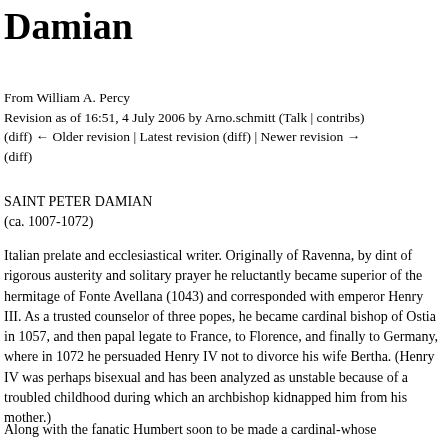Damian
From William A. Percy
Revision as of 16:51, 4 July 2006 by Arno.schmitt (Talk | contribs)
(diff) ← Older revision | Latest revision (diff) | Newer revision → (diff)
SAINT PETER DAMIAN
(ca. 1007-1072)
Italian prelate and ecclesiastical writer. Originally of Ravenna, by dint of rigorous austerity and solitary prayer he reluctantly became superior of the hermitage of Fonte Avellana (1043) and corresponded with emperor Henry III. As a trusted counselor of three popes, he became cardinal bishop of Ostia in 1057, and then papal legate to France, to Florence, and finally to Germany, where in 1072 he persuaded Henry IV not to divorce his wife Bertha. (Henry IV was perhaps bisexual and has been analyzed as unstable because of a troubled childhood during which an archbishop kidnapped him from his mother.)
Along with the fanatic Humbert soon to be made a cardinal-whose